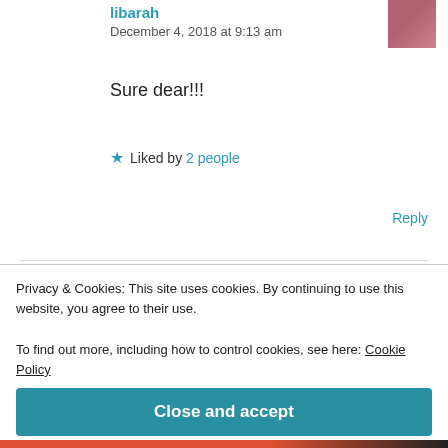libarah
December 4, 2018 at 9:13 am
Sure dear!!!
★ Liked by 2 people
Reply
Newtan
December 4, 2018 at 11:51 am
Privacy & Cookies: This site uses cookies. By continuing to use this website, you agree to their use.
To find out more, including how to control cookies, see here: Cookie Policy
Close and accept